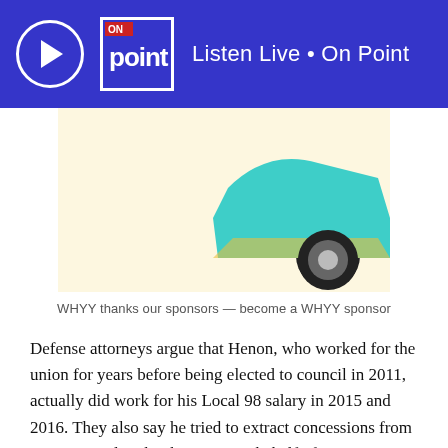Listen Live • On Point
[Figure (illustration): Advertisement banner with a light yellow background showing a teal/turquoise car illustration with a yellow accent and black tire in the lower right corner.]
WHYY thanks our sponsors — become a WHYY sponsor
Defense attorneys argue that Henon, who worked for the union for years before being elected to council in 2011, actually did work for his Local 98 salary in 2015 and 2016. They also say he tried to extract concessions from Comcast and took other steps on behalf of construction unions as a legitimate part of his normal work for his constituents in the city's 6th District.